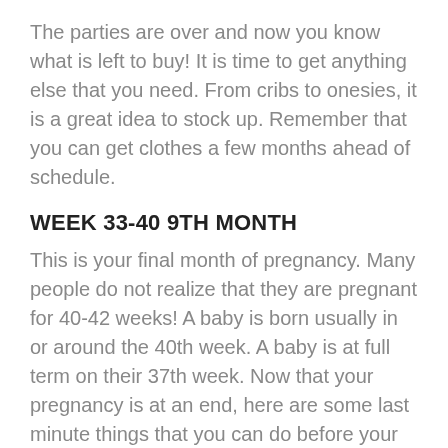The parties are over and now you know what is left to buy! It is time to get anything else that you need. From cribs to onesies, it is a great idea to stock up. Remember that you can get clothes a few months ahead of schedule.
WEEK 33-40 9TH MONTH
This is your final month of pregnancy. Many people do not realize that they are pregnant for 40-42 weeks! A baby is born usually in or around the 40th week. A baby is at full term on their 37th week. Now that your pregnancy is at an end, here are some last minute things that you can do before your baby is here!
HAVE YOUR HOSPITAL BAG READY